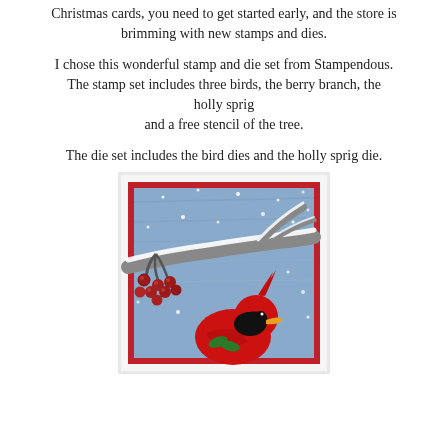Christmas cards, you need to get started early, and the store is brimming with new stamps and dies.
I chose this wonderful stamp and die set from Stampendous. The stamp set includes three birds, the berry branch, the holly sprig and a free stencil of the tree.
The die set includes the bird dies and the holly sprig die.
[Figure (photo): A handmade Christmas card featuring a red cardinal bird perched on a snow-covered branch with red berries, set against a blue winter sky with snowflakes. The card has a white border and red mat.]